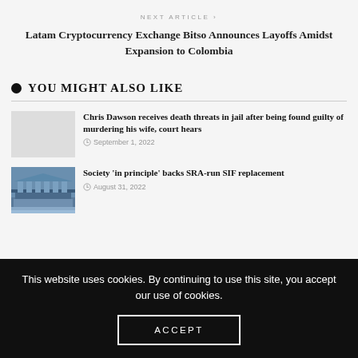NEXT ARTICLE >
Latam Cryptocurrency Exchange Bitso Announces Layoffs Amidst Expansion to Colombia
YOU MIGHT ALSO LIKE
Chris Dawson receives death threats in jail after being found guilty of murdering his wife, court hears
September 1, 2022
[Figure (photo): Placeholder thumbnail for first article]
Society ‘in principle’ backs SRA-run SIF replacement
August 31, 2022
[Figure (photo): Photo of a neoclassical building with columns]
This website uses cookies. By continuing to use this site, you accept our use of cookies.
ACCEPT